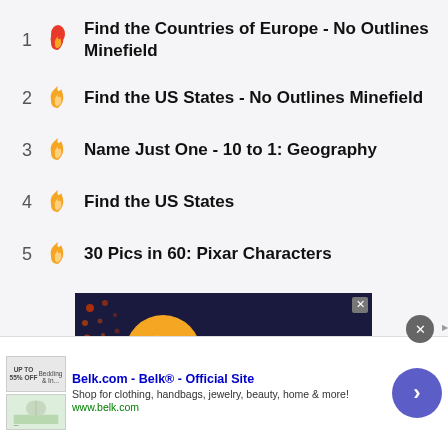1 Find the Countries of Europe - No Outlines Minefield
2 Find the US States - No Outlines Minefield
3 Name Just One - 10 to 1: Geography
4 Find the US States
5 30 Pics in 60: Pixar Characters
[Figure (screenshot): Sporcle Con advertisement banner with dark blue background and orange circle logo]
[Figure (screenshot): Belk.com advertisement bar at bottom: 'Belk.com - Belk® - Official Site - Shop for clothing, handbags, jewelry, beauty, home & more! www.belk.com']